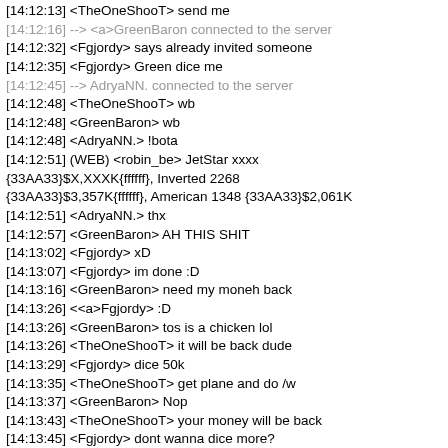[14:12:13] <TheOneShooT> send me
[14:12:16] --> <a>GreenBaron connected to the server
[14:12:32] <Fgjordy> says already invited someone
[14:12:35] <Fgjordy> Green dice me
[14:12:45] --> AdryaNN. connected to the server
[14:12:48] <TheOneShooT> wb
[14:12:48] <GreenBaron> wb
[14:12:48] <AdryaNN.> !bota
[14:12:51] (WEB) <robin_be> JetStar xxxx {33AA33}$X,XXXK{ffffff}, Inverted 2268 {33AA33}$3,357K{ffffff}, American 1348 {33AA33}$2,061K
[14:12:51] <AdryaNN.> thx
[14:12:57] <GreenBaron> AH THIS SHIT
[14:13:02] <Fgjordy> xD
[14:13:07] <Fgjordy> im done :D
[14:13:16] <GreenBaron> need my moneh back
[14:13:26] <<a>Fgjordy> :D
[14:13:26] <GreenBaron> tos is a chicken lol
[14:13:26] <TheOneShooT> it will be back dude
[14:13:29] <Fgjordy> dice 50k
[14:13:35] <TheOneShooT> get plane and do /w
[14:13:37] <GreenBaron> Nop
[14:13:43] <TheOneShooT> your money will be back
[14:13:45] <Fgjordy> dont wanna dice more?
[14:13:48] <Fgjordy> citron